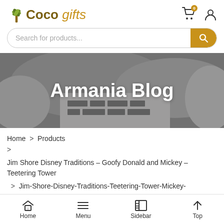[Figure (logo): Coco Gifts logo with palm tree icon]
Search for products...
[Figure (photo): Hero banner with grey pillows background]
Armania Blog
Home > Products > Jim Shore Disney Traditions – Goofy Donald and Mickey – Teetering Tower > Jim-Shore-Disney-Traditions-Teetering-Tower-Mickey-Mouse-back
Home  Menu  Sidebar  Top